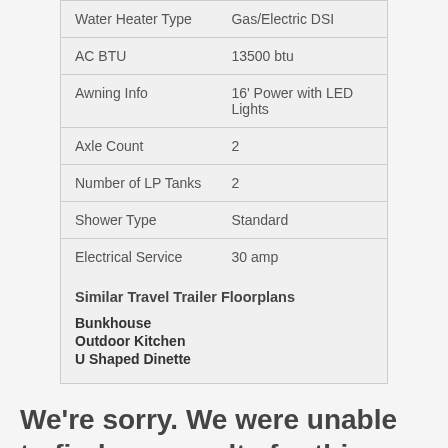| Attribute | Value |
| --- | --- |
| Water Heater Type | Gas/Electric DSI |
| AC BTU | 13500 btu |
| Awning Info | 16' Power with LED Lights |
| Axle Count | 2 |
| Number of LP Tanks | 2 |
| Shower Type | Standard |
| Electrical Service | 30 amp |
Similar Travel Trailer Floorplans
Bunkhouse
Outdoor Kitchen
U Shaped Dinette
We're sorry. We were unable to find any results for this page.